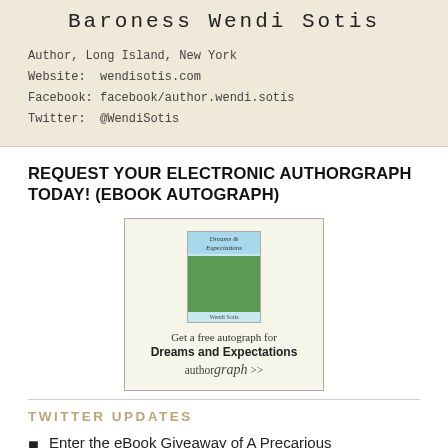[Figure (other): Author business card with beige background showing name 'Baroness Wendi Sotis', location, website, Facebook and Twitter info]
REQUEST YOUR ELECTRONIC AUTHORGRAPH TODAY! (EBOOK AUTOGRAPH)
[Figure (other): Authorgraph promotional box: book cover for 'Dreams and Expectations', text 'Get a free autograph for Dreams and Expectations authorgraph >>']
TWITTER UPDATES
Enter the eBook Giveaway of A Precarious